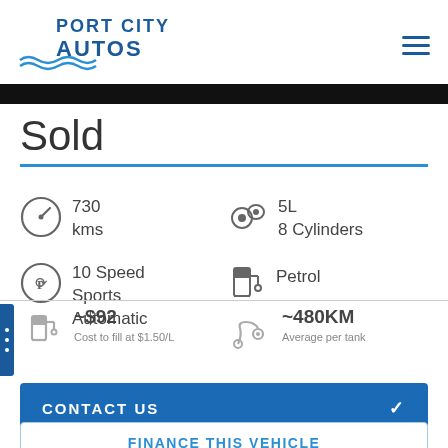[Figure (logo): Port City Autos logo with blue text and wave graphic]
Sold
730 kms
5L 8 Cylinders
10 Speed Sports Automatic
Petrol
~$92 Cost to fill at $1.50/L
~480KM Average per tank
CONTACT US
FINANCE THIS VEHICLE